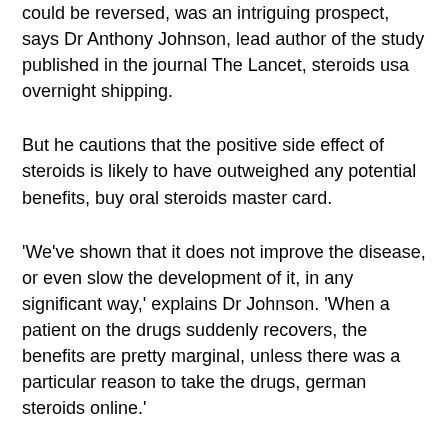could be reversed, was an intriguing prospect, says Dr Anthony Johnson, lead author of the study published in the journal The Lancet, steroids usa overnight shipping.
But he cautions that the positive side effect of steroids is likely to have outweighed any potential benefits, buy oral steroids master card.
'We've shown that it does not improve the disease, or even slow the development of it, in any significant way,' explains Dr Johnson. 'When a patient on the drugs suddenly recovers, the benefits are pretty marginal, unless there was a particular reason to take the drugs, german steroids online.'
This finding was welcomed by other researchers who have been studying steroids in an attempt to help stop the